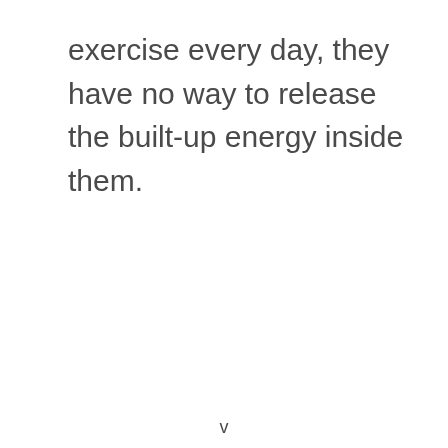exercise every day, they have no way to release the built-up energy inside them.
v